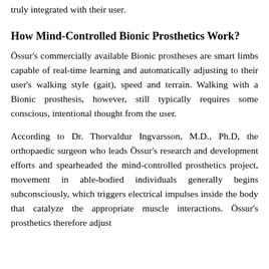truly integrated with their user.
How Mind-Controlled Bionic Prosthetics Work?
Össur's commercially available Bionic prostheses are smart limbs capable of real-time learning and automatically adjusting to their user's walking style (gait), speed and terrain. Walking with a Bionic prosthesis, however, still typically requires some conscious, intentional thought from the user.
According to Dr. Thorvaldur Ingvarsson, M.D., Ph.D, the orthopaedic surgeon who leads Össur's research and development efforts and spearheaded the mind-controlled prosthetics project, movement in able-bodied individuals generally begins subconsciously, which triggers electrical impulses inside the body that catalyze the appropriate muscle interactions. Össur's prosthetics therefore adjust...